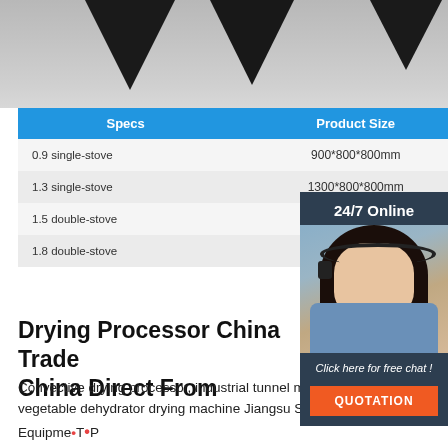[Figure (photo): Dark conical industrial equipment (drying processor funnels/hoppers) photographed against grey background, partially visible at top of page]
| Specs | Product Size | Gas Amout |
| --- | --- | --- |
| 0.9 single-stove | 900*800*800mm | 2m³/h/sto |
| 1.3 single-stove | 1300*800*800mm |  |
| 1.5 double-stove | 1500*800*800mm |  |
| 1.8 double-stove | 1800*800*800mm |  |
[Figure (photo): 24/7 Online chat widget showing a woman wearing a headset, with 'Click here for free chat!' text and orange QUOTATION button, on dark navy background]
Drying Processor China Trade China Direct From
Convective drying processor, industrial tunnel mesh belt fruit and vegetable dehydrator drying machine Jiangsu Shengman Drying Equipment Engineering Co., Ltd. US $13000-$25000 Set